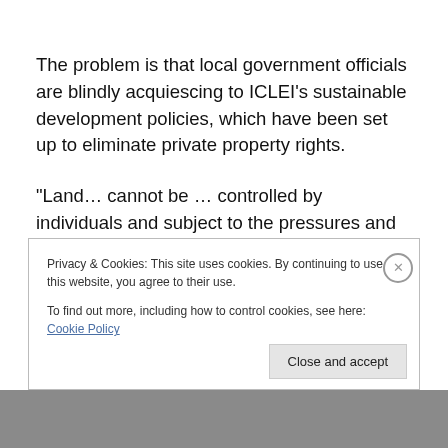The problem is that local government officials are blindly acquiescing to ICLEI's sustainable development policies, which have been set up to eliminate private property rights.
“Land… cannot be … controlled by individuals and subject to the pressures and inefficiencies of the market. Private land ownership … contributes to social injustice; if unchecked, it may become a major obstacle in the planning and implementation of land use control…
Privacy & Cookies: This site uses cookies. By continuing to use this website, you agree to their use.
To find out more, including how to control cookies, see here: Cookie Policy
Close and accept